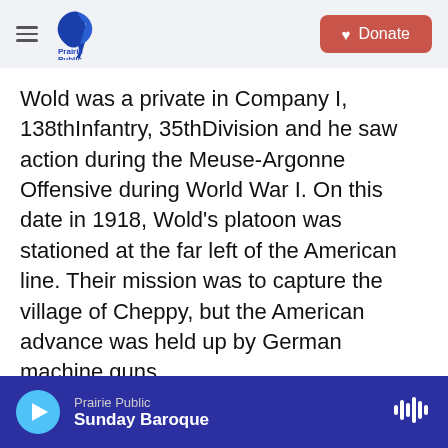[Figure (logo): Prairie Public Broadcasting logo - blue bird/feather shape with Prairie Public text]
Wold was a private in Company I, 138thInfantry, 35thDivision and he saw action during the Meuse-Argonne Offensive during World War I. On this date in 1918, Wold's platoon was stationed at the far left of the American line. Their mission was to capture the village of Cheppy, but the American advance was held up by German machine guns.
Wold's platoon found themselves in heavy fog. They lost contact with the rest of the American troops. When the platoon came across some American scouts, the two groups joined up. They decided to move behind the German lines. They
Prairie Public | Sunday Baroque